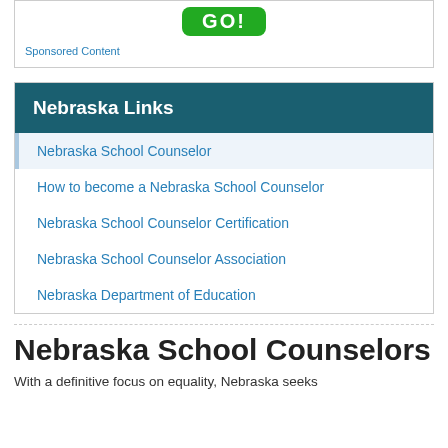[Figure (screenshot): Sponsored content box with a green GO! button and 'Sponsored Content' label in blue text]
Nebraska Links
Nebraska School Counselor
How to become a Nebraska School Counselor
Nebraska School Counselor Certification
Nebraska School Counselor Association
Nebraska Department of Education
Nebraska School Counselors
With a definitive focus on equality, Nebraska seeks